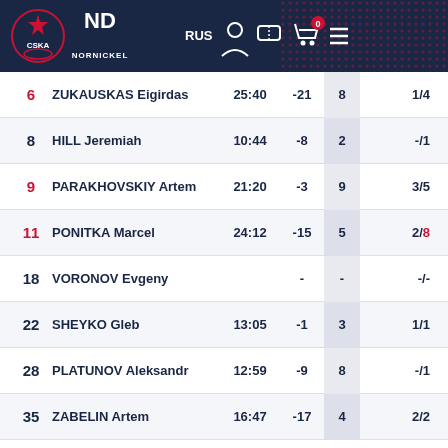[Figure (logo): CSKA basketball club logo and Nornickel sponsor logo with navigation header bar showing RUS language selector and icons]
| # | Name | Time | +/- | Reb | Shots |
| --- | --- | --- | --- | --- | --- |
| 6 | ZUKAUSKAS Eigirdas | 25:40 | -21 | 8 | 1/4 |
| 8 | HILL Jeremiah | 10:44 | -8 | 2 | -/1 |
| 9 | PARAKHOVSKIY Artem | 21:20 | -3 | 9 | 3/5 |
| 11 | PONITKA Marcel | 24:12 | -15 | 5 | 2/8 |
| 18 | VORONOV Evgeny |  | - | - | -/- |
| 22 | SHEYKO Gleb | 13:05 | -1 | 3 | 1/1 |
| 28 | PLATUNOV Aleksandr | 12:59 | -9 | 8 | -/1 |
| 35 | ZABELIN Artem | 16:47 | -17 | 4 | 2/2 |